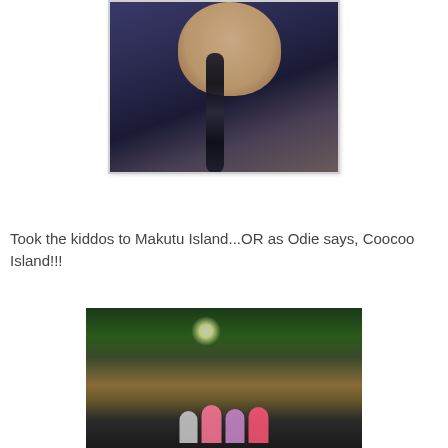[Figure (photo): Close-up selfie of a person with a dark braided hair, wearing a dark blue/navy top, chin tucked down, taken from above.]
Took the kiddos to Makutu Island...OR as Odie says, Coocoo Island!!!
[Figure (photo): Indoor photo at Makutu Island showing children standing in front of elaborate jungle/fantasy themed decorations with large sculptural trees and animal figures, with bright lighting.]